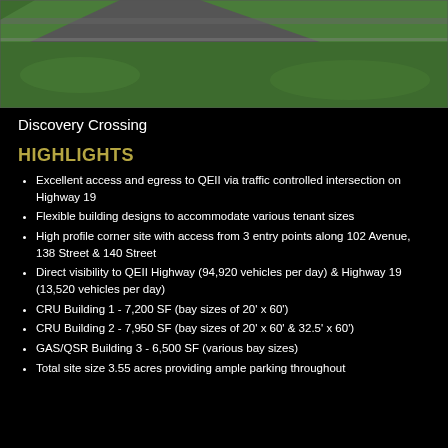[Figure (illustration): Aerial or rendered site plan view of Discovery Crossing showing green landscaping, road and parking area on dark background]
Discovery Crossing
HIGHLIGHTS
Excellent access and egress to QEII via traffic controlled intersection on Highway 19
Flexible building designs to accommodate various tenant sizes
High profile corner site with access from 3 entry points along 102 Avenue, 138 Street & 140 Street
Direct visibility to QEII Highway (94,920 vehicles per day) & Highway 19 (13,520 vehicles per day)
CRU Building 1 - 7,200 SF (bay sizes of 20' x 60')
CRU Building 2 - 7,950 SF (bay sizes of 20' x 60' & 32.5' x 60')
GAS/QSR Building 3 - 6,500 SF (various bay sizes)
Total site size 3.55 acres providing ample parking throughout